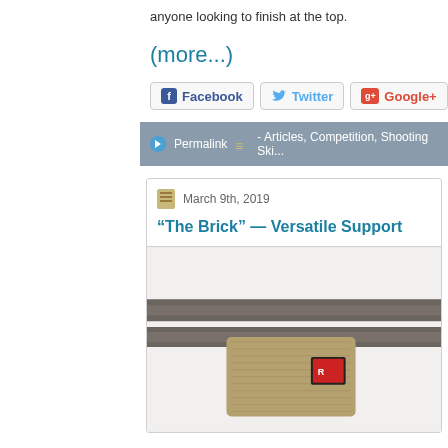anyone looking to finish at the top.
(more...)
Facebook  Twitter  Google+
Permalink - Articles, Competition, Shooting Ski...
March 9th, 2019
“The Brick” — Versatile Support
[Figure (photo): Photo of rifle barrel with tan/burlap sling or strap, close-up product shot on light background]